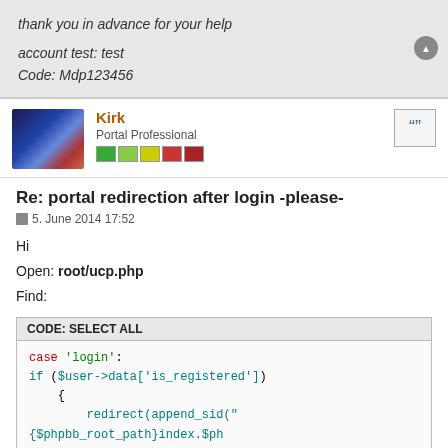thank you in advance for your help
account test: test
Code: Mdp123456
Kirk
Portal Professional
Re: portal redirection after login -please-
5. June 2014 17:52
Hi
Open: root/ucp.php
Find:
CODE: SELECT ALL
case 'login':
    if ($user->data['is_registered'])
    {
        redirect(append_sid("{$phpbb_root_path}index.$ph
    }

    login_box(request_var('redirect', "index.$phpEx"));
    break;